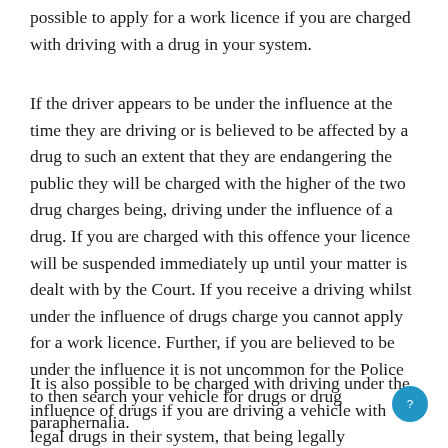possible to apply for a work licence if you are charged with driving with a drug in your system.
If the driver appears to be under the influence at the time they are driving or is believed to be affected by a drug to such an extent that they are endangering the public they will be charged with the higher of the two drug charges being, driving under the influence of a drug. If you are charged with this offence your licence will be suspended immediately up until your matter is dealt with by the Court. If you receive a driving whilst under the influence of drugs charge you cannot apply for a work licence. Further, if you are believed to be under the influence it is not uncommon for the Police to then search your vehicle for drugs or drug paraphernalia.
It is also possible to be charged with driving under the influence of drugs if you are driving a vehicle with legal drugs in their system, that being legally prescribed